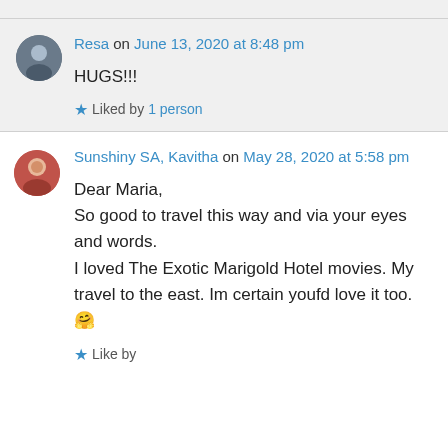Resa on June 13, 2020 at 8:48 pm
HUGS!!!
Liked by 1 person
Sunshiny SA, Kavitha on May 28, 2020 at 5:58 pm
Dear Maria,
So good to travel this way and via your eyes and words.
I loved The Exotic Marigold Hotel movies. My travel to the east. Im certain youfd love it too. 🤗